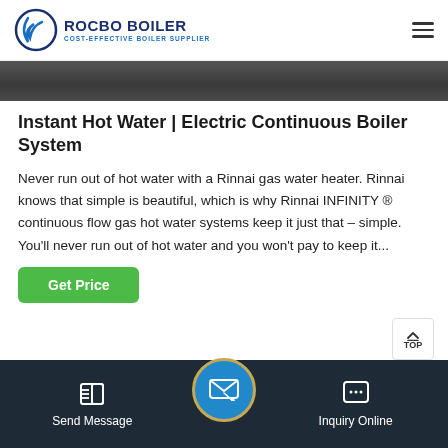[Figure (logo): Rocbo Boiler logo with crescent icon and text 'ROCBO BOILER COST-EFFECTIVE BOILER SUPPLIER']
[Figure (photo): Top image strip showing a dark industrial/boiler room scene]
Instant Hot Water | Electric Continuous Boiler System
Never run out of hot water with a Rinnai gas water heater. Rinnai knows that simple is beautiful, which is why Rinnai INFINITY ® continuous flow gas hot water systems keep it just that – simple. You'll never run out of hot water and you won't pay to keep it...
[Figure (screenshot): Green 'Get Price' button]
[Figure (photo): Bottom image showing industrial boiler/pipes interior]
Send Message    Inquiry Online